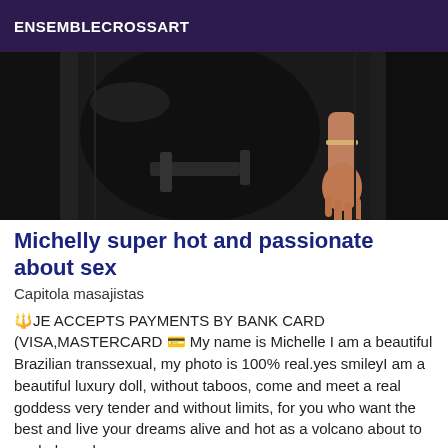ENSEMBLECROSSART
[Figure (photo): Dark photograph showing a person in black leather clothing, with a hand visible reaching downward, set against a dark interior background.]
Michelly super hot and passionate about sex
Capitola masajistas
🔱JE ACCEPTS PAYMENTS BY BANK CARD (VISA,MASTERCARD 💳 My name is Michelle I am a beautiful Brazilian transsexual, my photo is 100% real.yes smileyI am a beautiful luxury doll, without taboos, come and meet a real goddess very tender and without limits, for you who want the best and live your dreams alive and hot as a volcano about to explode and